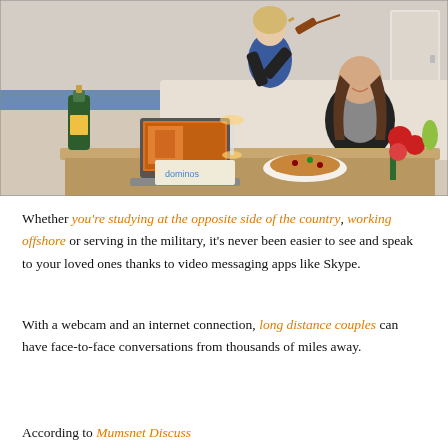[Figure (photo): Two young women in a living room setting. One woman stands playing a violin wearing a blue dress and black cardigan. Another woman sits on a sofa smiling, wearing a black leather jacket. On a coffee table in front: a champagne bottle, a laptop showing food imagery, a plate with food, and a bunch of red and white flowers. The scene suggests a remote celebration via video call.]
Whether you’re studying at the opposite side of the country, working offshore or serving in the military, it’s never been easier to see and speak to your loved ones thanks to video messaging apps like Skype.
With a webcam and an internet connection, long distance couples can have face-to-face conversations from thousands of miles away.
According to Mumsnet Discuss...